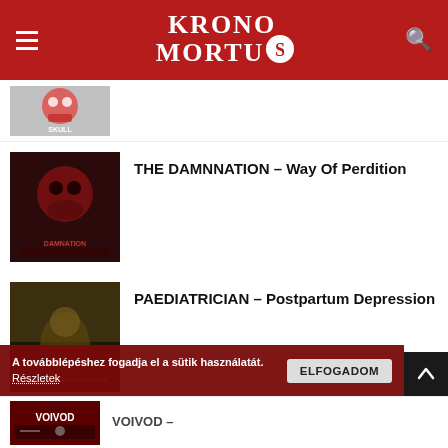KRONOMORTU S
[Figure (illustration): Partial album cover thumbnail at top, colorful skull graphic]
[Figure (illustration): THE DAMNNATION album cover with dark red skull]
THE DAMNNATION – Way Of Perdition
[Figure (illustration): PAEDIATRICIAN album cover with dark figure]
PAEDIATRICIAN – Postpartum Depression
[Figure (illustration): VOIVOD album cover partial]
VOIVOD – [partially visible title]
A továbblépéshez fogadja el a sütik használatát. Részletek  ELFOGADOM